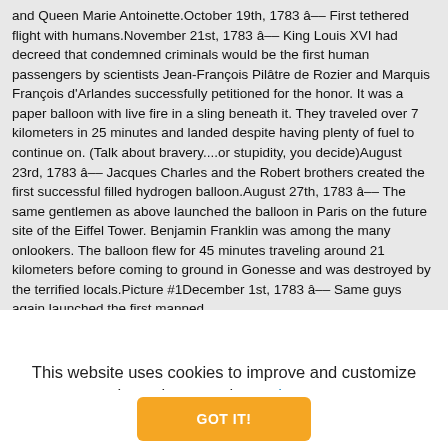and Queen Marie Antoinette.October 19th, 1783 â First tethered flight with humans.November 21st, 1783 â King Louis XVI had decreed that condemned criminals would be the first human passengers by scientists Jean-François Pilâtre de Rozier and Marquis François d'Arlandes successfully petitioned for the honor. It was a paper balloon with live fire in a sling beneath it. They traveled over 7 kilometers in 25 minutes and landed despite having plenty of fuel to continue on. (Talk about bravery....or stupidity, you decide)August 23rd, 1783 â Jacques Charles and the Robert brothers created the first successful filled hydrogen balloon.August 27th, 1783 â The same gentlemen as above launched the balloon in Paris on the future site of the Eiffel Tower. Benjamin Franklin was among the many onlookers. The balloon flew for 45 minutes traveling around 21 kilometers before coming to ground in Gonesse and was destroyed by the terrified locals.Picture #1December 1st, 1783 â Same guys again launched the first manned
This website uses cookies to improve and customize your browsing experience. Learn more.
GOT IT!